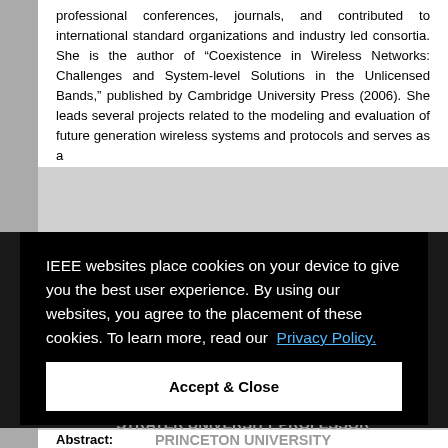professional conferences, journals, and contributed to international standard organizations and industry led consortia. She is the author of “Coexistence in Wireless Networks: Challenges and System-level Solutions in the Unlicensed Bands," published by Cambridge University Press (2006). She leads several projects related to the modeling and evaluation of future generation wireless systems and protocols and serves as a
IEEE websites place cookies on your device to give you the best user experience. By using our websites, you agree to the placement of these cookies. To learn more, read our Privacy Policy.
Accept & Close
HONORED THE 2013 AFTERNOON
INTELLIGENCE AT THE WIRELESS EDGE
DR. VINCENT POOR MICHAEL HENRY STRATER UNIVERSITY PROFESSOR PRINCETON UNIVERSITY
Abstract: